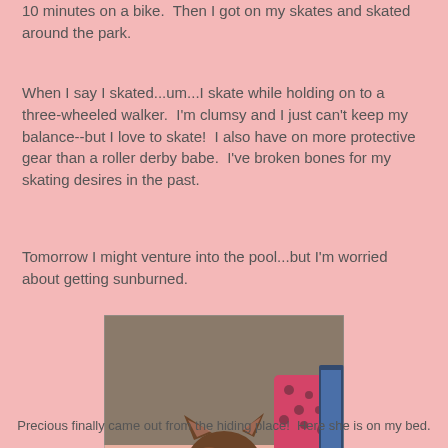10 minutes on a bike.  Then I got on my skates and skated around the park.
When I say I skated...um...I skate while holding on to a three-wheeled walker.  I'm clumsy and I just can't keep my balance--but I love to skate!  I also have on more protective gear than a roller derby babe.  I've broken bones for my skating desires in the past.
Tomorrow I might venture into the pool...but I'm worried about getting sunburned.
[Figure (photo): A tortoiseshell cat resting on a pink patterned blanket/bed, with a pink polka-dot pillow and a laptop screen visible in the background.]
Precious finally came out from the hiding place!  Here she is on my bed.